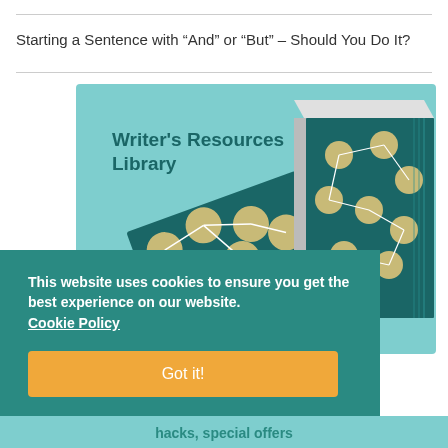Starting a Sentence with “And” or “But” – Should You Do It?
[Figure (illustration): Writer's Resources Library book illustration on teal background with decorative book covers showing dot/node patterns]
This website uses cookies to ensure you get the best experience on our website. Cookie Policy
Got it!
hacks, special offers